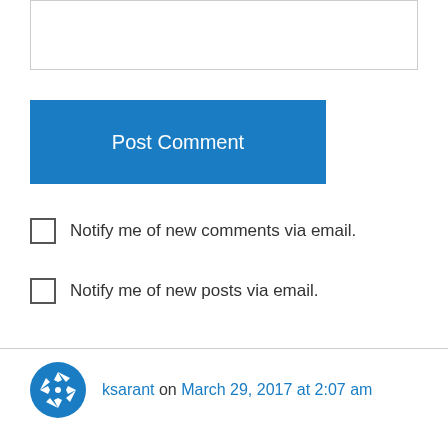[Figure (other): Partially visible text input box at the top of the page]
Post Comment
Notify me of new comments via email.
Notify me of new posts via email.
ksarant on March 29, 2017 at 2:07 am
No, this reader won’t put you “right” because I agree with you!
↳ Reply